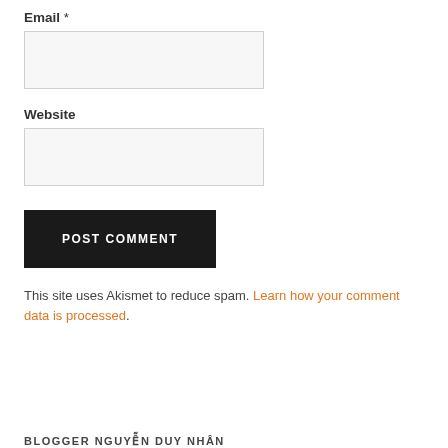Email *
Website
POST COMMENT
This site uses Akismet to reduce spam. Learn how your comment data is processed.
BLOGGER NGUYỄN DUY NHÂN